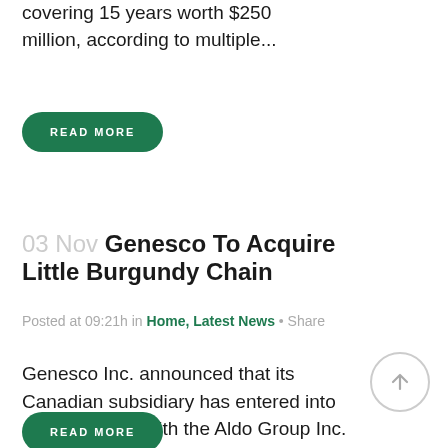covering 15 years worth $250 million, according to multiple...
READ MORE
03 Nov Genesco To Acquire Little Burgundy Chain
Posted at 09:21h in Home, Latest News · Share
Genesco Inc. announced that its Canadian subsidiary has entered into an agreement with the Aldo Group Inc. to acquire the 37-store Little Burgundy retail footwear...
READ MORE